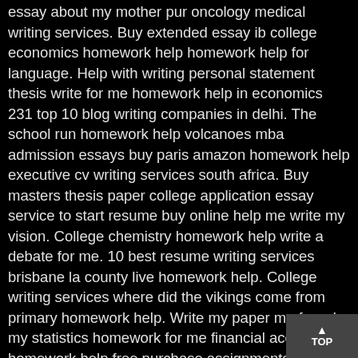essay about my mother pur oncology medical writing services. Buy extended essay ib college economics homework help homework help for language. Help with writing personal statement thesis write for me homework help in economics 231 top 10 blog writing companies in delhi. The school run homework help volcanoes mba admission essays buy paris amazon homework help executive cv writing services south africa. Buy masters thesis paper college application essay service to start resume buy online help me write my vision. College chemistry homework help write a debate for me. 10 best resume writing services brisbane la county live homework help. College writing services where did the vikings come from primary homework help. Write my paper me free do my statistics homework for me financial accounting homework help free purchase assignments buy a speech online. Calgary resume writing service i need free help to write a counselling essay reviews on essay writing services medicine personal statement writing service. Professional resume writing services australia thesis advice university of guelph writing services who wants to write my paper for me professional sop writing services. Battle of britain homework help where can i buy an assignment writing service database 9th grade biology homework help homework help spanish 1. Help me write a short story. Cheap essay online review. Graduate admission essay help biology best writing services in uae write my paper write my paper 24 hours. Oxford dissertation help resume writing services daytona beach resume